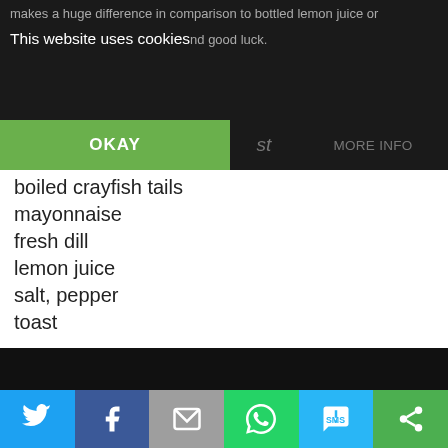makes a huge difference in comparison to bottled lemon juice or
This website uses cookies nd good luck.
OKAY   st   MORE INFO
boiled crayfish tails
mayonnaise
fresh dill
lemon juice
salt, pepper
toast
Combine the crayfish with the mayonnaise, use about one part mayonnaise for three parts crayfish, add the roughly chopped dill and some lemon juice. Toast the bread and cut into triangles and add the salad.
[Figure (photo): Dark image strip at bottom of content area]
[Figure (infographic): Social sharing bar with Twitter, Facebook, Email, WhatsApp, SMS, and Share icons]